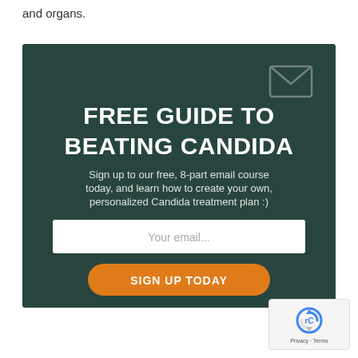and organs.
[Figure (infographic): Promotional banner with dark teal background showing 'FREE GUIDE TO BEATING CANDIDA' headline, subtitle about free 8-part email course, email input field, and orange 'SIGN UP TODAY' button]
[Figure (logo): reCAPTCHA badge with rotating arrows logo and 'Privacy - Terms' text]